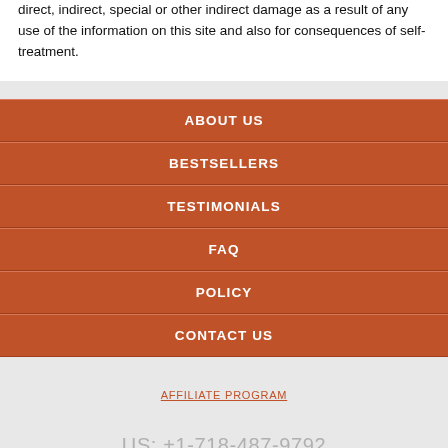direct, indirect, special or other indirect damage as a result of any use of the information on this site and also for consequences of self-treatment.
ABOUT US
BESTSELLERS
TESTIMONIALS
FAQ
POLICY
CONTACT US
AFFILIATE PROGRAM
US: +1-718-487-9792
UK +4420-3239-7092